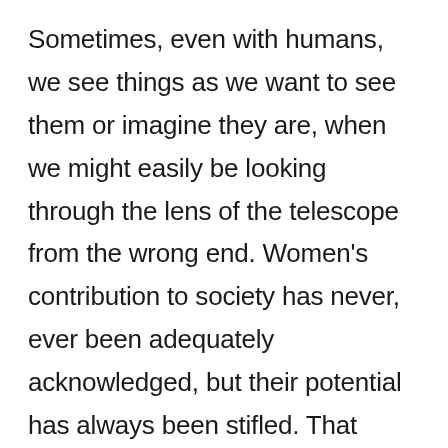Sometimes, even with humans, we see things as we want to see them or imagine they are, when we might easily be looking through the lens of the telescope from the wrong end. Women's contribution to society has never, ever been adequately acknowledged, but their potential has always been stifled. That should tell us something that, perhaps, our society simply does not wish to acknowledge. When a man claims he IS a woman, not a trans woman, but a woman, and when politicians tell us